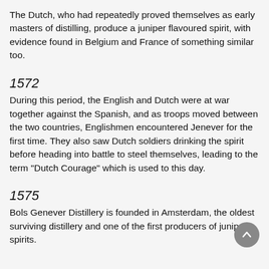The Dutch, who had repeatedly proved themselves as early masters of distilling, produce a juniper flavoured spirit, with evidence found in Belgium and France of something similar too.
1572
During this period, the English and Dutch were at war together against the Spanish, and as troops moved between the two countries, Englishmen encountered Jenever for the first time. They also saw Dutch soldiers drinking the spirit before heading into battle to steel themselves, leading to the term "Dutch Courage" which is used to this day.
1575
Bols Genever Distillery is founded in Amsterdam, the oldest surviving distillery and one of the first producers of juniper spirits.